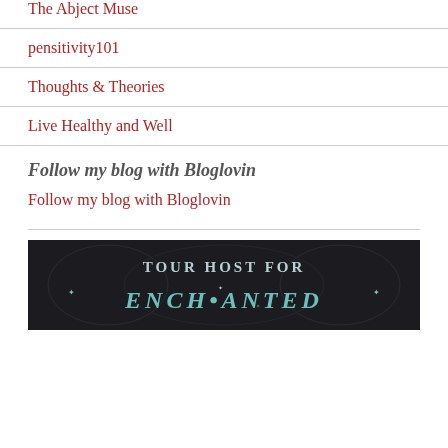The Abject Muse
pensitivity101
Thoughts & Theories
Live Healthy and Well
Follow my blog with Bloglovin
Follow my blog with Bloglovin
[Figure (illustration): Tour Host for Enchanted book tour badge — dark background with decorative medieval-style lettering reading TOUR HOST FOR ENCHANTED]